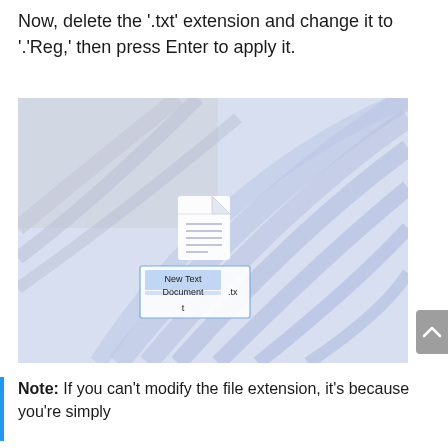Now, delete the '.txt' extension and change it to '.'Reg,' then press Enter to apply it.
[Figure (screenshot): Windows desktop screenshot showing a text file icon being renamed. The file is labeled 'New Text Document.txt' with the .txt portion highlighted in an edit box. The background shows a Windows 11 wallpaper with blue swirling lines on a light gray/blue gradient.]
Note: If you can't modify the file extension, it's because you're simply